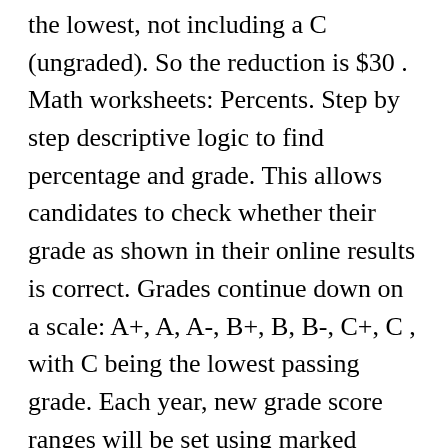the lowest, not including a C (ungraded). So the reduction is $30 . Math worksheets: Percents. Step by step descriptive logic to find percentage and grade. This allows candidates to check whether their grade as shown in their online results is correct. Grades continue down on a scale: A+, A, A-, B+, B, B-, C+, C , with C being the lowest passing grade. Each year, new grade score ranges will be set using marked examination papers and the standard being assessed. Simply enter in your assessments, weighted grade percentages or letter grades you received and our TCNJ grade calculator will determine your current College of New Jersey course grades. 100% is taken to be 100 points hence, 25 points in percentage